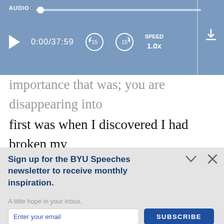[Figure (screenshot): Audio player bar with play button, time display 0:00/37:59, rewind 15s, forward 15s buttons, speed 1.0x, and download icon on a blue background.]
importance that was; you are disappearing into first was when I discovered I had broken my fishing rod, the Lord had protected us and had taught me a valuable lesson that has brought me strength throughout my life. I am inde grateful to my father and to the Lord for this
Sign up for the BYU Speeches newsletter to receive monthly inspiration.
A little hope in your inbox.
Enter your email
SUBSCRIBE